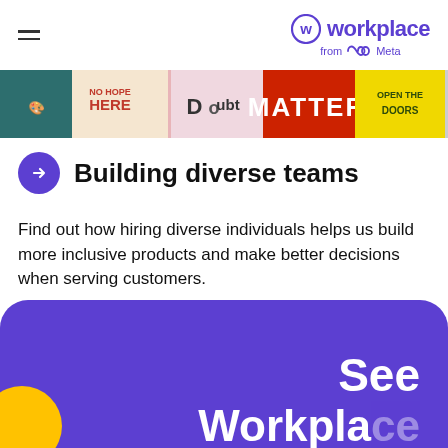workplace from Meta
[Figure (photo): A horizontal banner strip with colorful typographic posters including 'No Hope Here', 'Doubt', 'MATTER', 'Open The Doors']
Building diverse teams
Find out how hiring diverse individuals helps us build more inclusive products and make better decisions when serving customers.
[Figure (illustration): Purple rounded rectangle section at bottom with large white text 'See' and partial 'Workplace' text, with a yellow circle element]